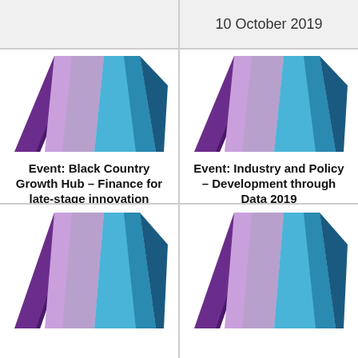10 October 2019
[Figure (logo): Innovate UK geometric crystal logo - purple, pink, and blue faceted shapes]
Event: Black Country Growth Hub – Finance for late-stage innovation
09 October 2019
[Figure (logo): Innovate UK geometric crystal logo - purple, pink, and blue faceted shapes]
Event: Industry and Policy – Development through Data 2019
04 October 2019
[Figure (logo): Innovate UK geometric crystal logo - purple, pink, and blue faceted shapes]
[Figure (logo): Innovate UK geometric crystal logo - purple, pink, and blue faceted shapes]